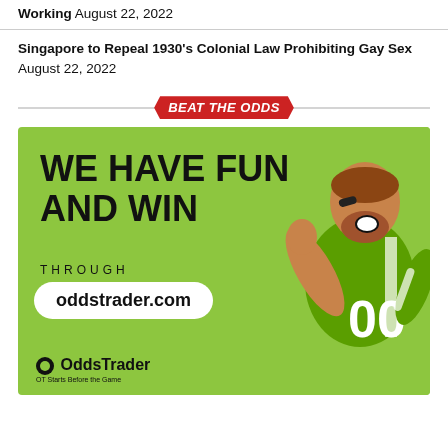Working August 22, 2022
Singapore to Repeal 1930's Colonial Law Prohibiting Gay Sex
August 22, 2022
BEAT THE ODDS
[Figure (photo): OddsTrader advertisement showing a man in a green football jersey celebrating with text 'WE HAVE FUN AND WIN THROUGH oddstrader.com' on a bright green background with the OddsTrader logo]